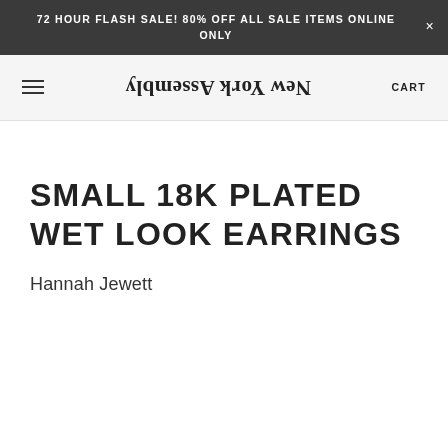72 HOUR FLASH SALE! 80% OFF ALL SALE ITEMS ONLINE ONLY
[Figure (logo): New York Assembly logo in mirrored/flipped orientation]
SMALL 18K PLATED WET LOOK EARRINGS
Hannah Jewett